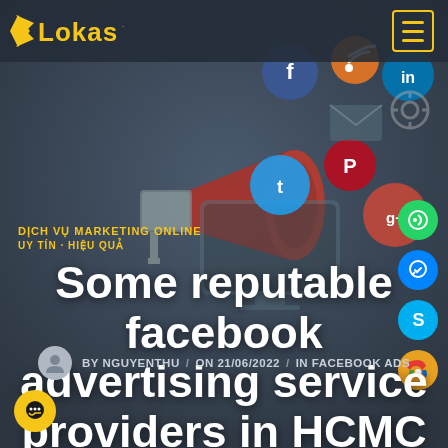[Figure (screenshot): Website header screenshot for Lokas agency showing logo, navigation hamburger button, social media icons (Facebook, RSS, LinkedIn, Twitter, Pinterest, Google+, phone, messenger, Skype, maps), a large megaphone with social media icons background illustration, marketing text in Vietnamese (DICH VU MARKETING ONLINE / UY TIN - HIEU QUA), main article title, author byline, and chat button.]
Some reputable facebook advertising service providers in HCMC
BY NGUYENTHU / ON 21/06/2022 / IN FACEBOOK ADS